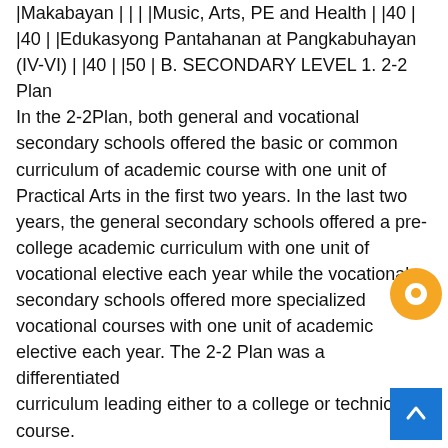|Makabayan | | | |Music, Arts, PE and Health | |40 | |40 | |Edukasyong Pantahanan at Pangkabuhayan (IV-VI) | |40 | |50 | B. SECONDARY LEVEL 1. 2-2 Plan In the 2-2Plan, both general and vocational secondary schools offered the basic or common curriculum of academic course with one unit of Practical Arts in the first two years. In the last two years, the general secondary schools offered a pre-college academic curriculum with one unit of vocational elective each year while the vocational secondary schools offered more specialized vocational courses with one unit of academic elective each year. The 2-2 Plan was a differentiated curriculum leading either to a college or technical course.
It was seen to be a very responsive curriculum, however, it was met with strong opposition especially from the private sector which requested for its deferment due to lack of money, facilities, equipment